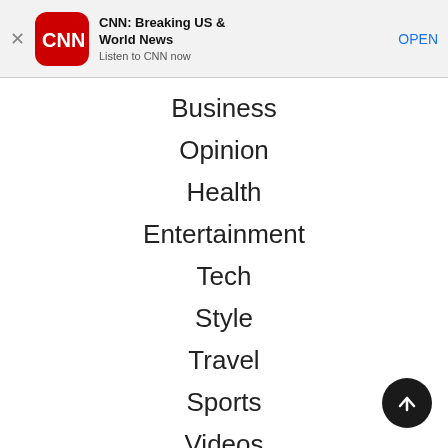[Figure (screenshot): CNN app banner advertisement with CNN logo, title 'CNN: Breaking US & World News', subtitle 'Listen to CNN now', and an OPEN button]
Business
Opinion
Health
Entertainment
Tech
Style
Travel
Sports
Videos